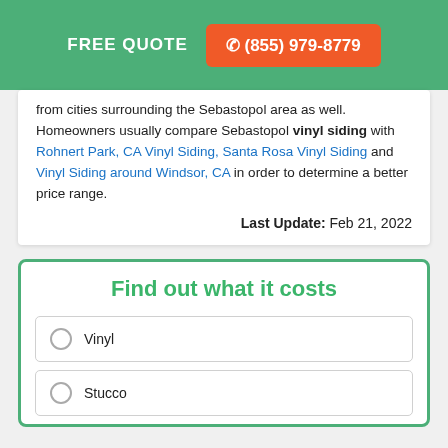FREE QUOTE  ☎ (855) 979-8779
from cities surrounding the Sebastopol area as well. Homeowners usually compare Sebastopol vinyl siding with Rohnert Park, CA Vinyl Siding, Santa Rosa Vinyl Siding and Vinyl Siding around Windsor, CA in order to determine a better price range.
Last Update: Feb 21, 2022
Find out what it costs
Vinyl
Stucco